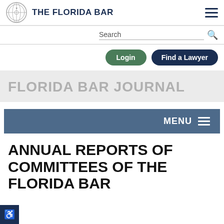THE FLORIDA BAR
Search
Login | Find a Lawyer
FLORIDA BAR JOURNAL
MENU
ANNUAL REPORTS OF COMMITTEES OF THE FLORIDA BAR